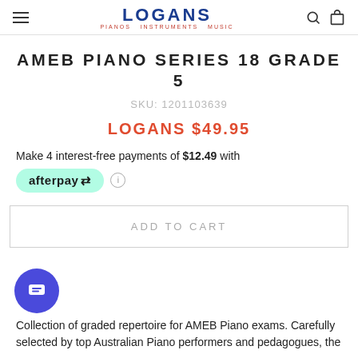LOGANS PIANOS INSTRUMENTS MUSIC
AMEB PIANO SERIES 18 GRADE 5
SKU: 1201103639
LOGANS $49.95
Make 4 interest-free payments of $12.49 with
[Figure (logo): Afterpay logo badge with green pill background]
ADD TO CART
[Figure (illustration): Chat bubble icon button, purple circle with white chat lines]
Collection of graded repertoire for AMEB Piano exams. Carefully selected by top Australian Piano performers and pedagogues, the